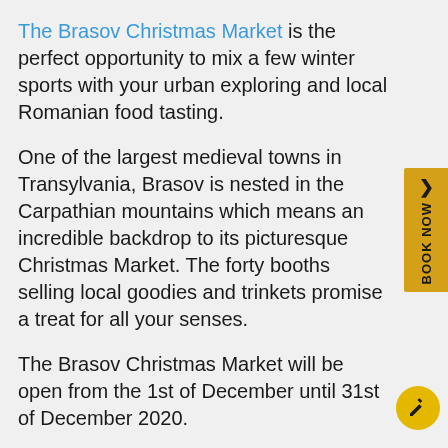The Brasov Christmas Market is the perfect opportunity to mix a few winter sports with your urban exploring and local Romanian food tasting.
One of the largest medieval towns in Transylvania, Brasov is nested in the Carpathian mountains which means an incredible backdrop to its picturesque Christmas Market. The forty booths selling local goodies and trinkets promise a treat for all your senses.
The Brasov Christmas Market will be open from the 1st of December until 31st of December 2020.